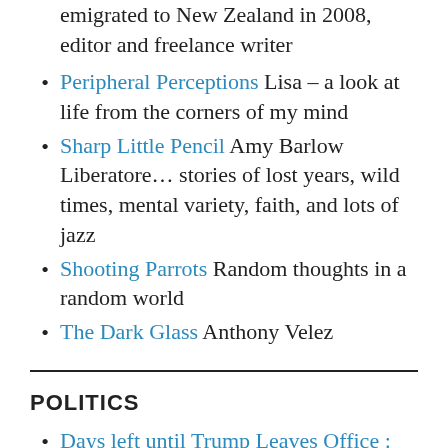emigrated to New Zealand in 2008, editor and freelance writer
Peripheral Perceptions Lisa – a look at life from the corners of my mind
Sharp Little Pencil Amy Barlow Liberatore… stories of lost years, wild times, mental variety, faith, and lots of jazz
Shooting Parrots Random thoughts in a random world
The Dark Glass Anthony Velez
POLITICS
Days left until Trump Leaves Office : Not soon enough